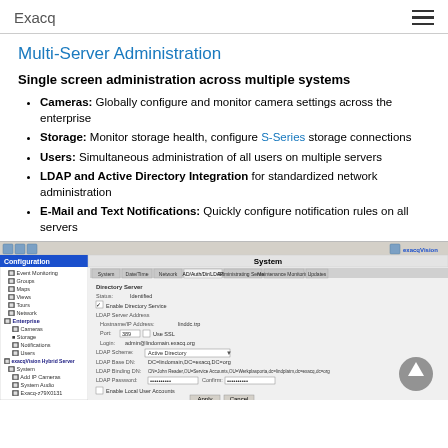Exacq
Multi-Server Administration
Single screen administration across multiple systems
Cameras: Globally configure and monitor camera settings across the enterprise
Storage: Monitor storage health, configure S-Series storage connections
Users: Simultaneous administration of all users on multiple servers
LDAP and Active Directory Integration for standardized network administration
E-Mail and Text Notifications: Quickly configure notification rules on all servers
[Figure (screenshot): Screenshot of exacqVision software showing Multi-Server Administration configuration panel with LDAP/Active Directory settings including Directory Server, LDAP Server Address, hostname/IP, port, login, LDAP Scheme (Active Directory), LDAP Base DN, LDAP Binding DN, LDAP Password, and Enable Local User Accounts options.]